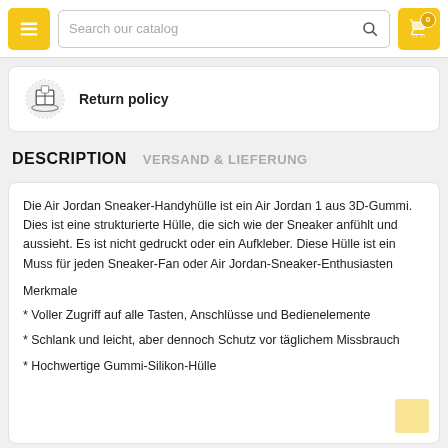[Figure (screenshot): E-commerce website header with hamburger menu button (yellow), search bar with placeholder 'Search our catalog' and magnifier icon, and shopping cart button (yellow) with badge showing 0]
Return policy
DESCRIPTION   VERSAND & LIEFERUNG
Die Air Jordan Sneaker-Handyhülle ist ein Air Jordan 1 aus 3D-Gummi. Dies ist eine strukturierte Hülle, die sich wie der Sneaker anfühlt und aussieht. Es ist nicht gedruckt oder ein Aufkleber. Diese Hülle ist ein Muss für jeden Sneaker-Fan oder Air Jordan-Sneaker-Enthusiasten
Merkmale
* Voller Zugriff auf alle Tasten, Anschlüsse und Bedienelemente
* Schlank und leicht, aber dennoch Schutz vor täglichem Missbrauch
* Hochwertige Gummi-Silikon-Hülle